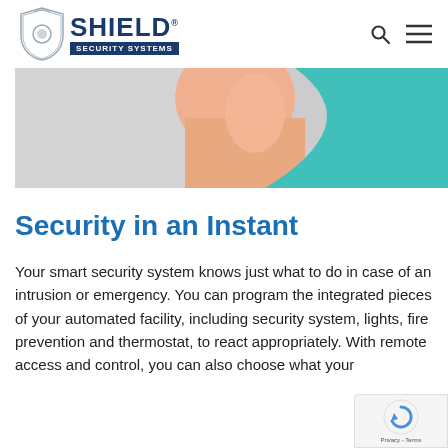[Figure (logo): Shield Security Systems logo with shield icon and blue bold text]
[Figure (photo): Hero banner image showing a close-up of a person wearing a teal/turquoise sweater, cropped to show face and shoulder area]
Security in an Instant
Your smart security system knows just what to do in case of an intrusion or emergency. You can program the integrated pieces of your automated facility, including security system, lights, fire prevention and thermostat, to react appropriately. With remote access and control, you can also choose what your